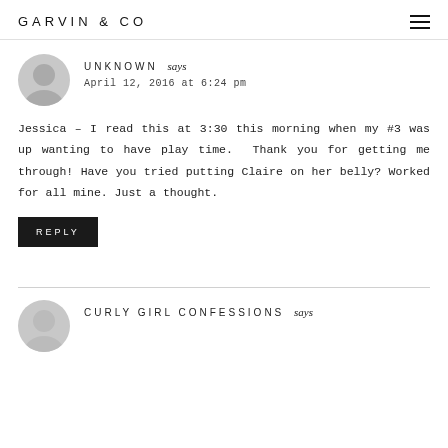GARVIN & CO
UNKNOWN says
April 12, 2016 at 6:24 pm
Jessica – I read this at 3:30 this morning when my #3 was up wanting to have play time. Thank you for getting me through! Have you tried putting Claire on her belly? Worked for all mine. Just a thought.
REPLY
CURLY GIRL CONFESSIONS says